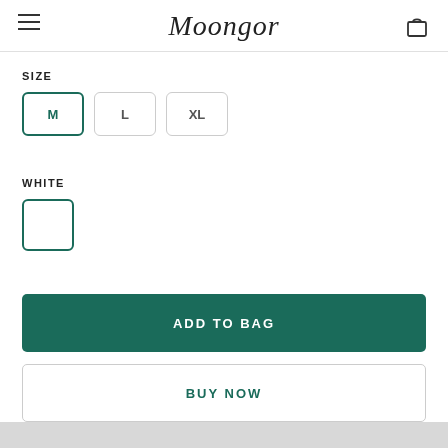Moongor
SIZE
M  L  XL
WHITE
White color swatch selected
ADD TO BAG
BUY NOW